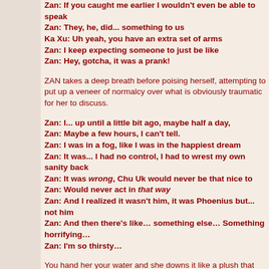Zan: If you caught me earlier I wouldn't even be able to speak
Zan: They, he, did... something to us
Ka Xu: Uh yeah, you have an extra set of arms
Zan: I keep expecting someone to just be like
Zan: Hey, gotcha, it was a prank!
ZAN takes a deep breath before poising herself, attempting to put up a veneer of normalcy over what is obviously traumatic for her to discuss.
Zan: I... up until a little bit ago, maybe half a day,
Zan: Maybe a few hours, I can't tell.
Zan: I was in a fog, like I was in the happiest dream
Zan: It was... I had no control, I had to wrest my own sanity back
Zan: It was wrong, Chu Uk would never be that nice to
Zan: Would never act in that way
Zan: And I realized it wasn't him, it was Phoenius but... not him
Zan: And then there's like… something else… Something horrifying…
Zan: I'm so thirsty…
You hand her your water and she downs it like a plush that has been stuck in the desert for far too long. You can tell...